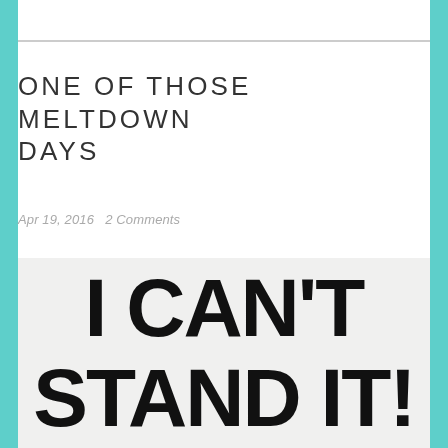ONE OF THOSE MELTDOWN DAYS
Apr 19, 2016   2 Comments
[Figure (photo): A hand-drawn sign on paper with bold black marker text reading 'I CAN'T STAND IT!']